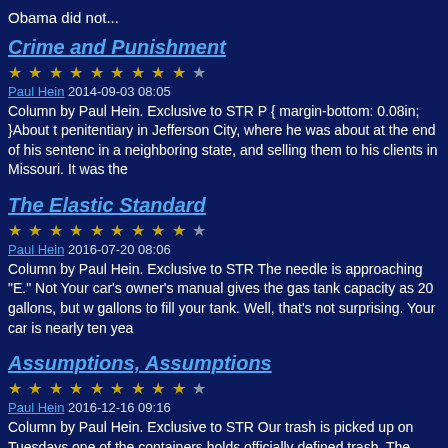Obama did not...
Crime and Punishment
★ ★ ★ ★ ★ ★ ★ ★ ★ ☆
Paul Hein 2014-09-03 08:05
Column by Paul Hein. Exclusive to STR P { margin-bottom: 0.08in; }About t penitentiary in Jefferson City, where he was about at the end of his sentenc in a neighboring state, and selling them to his clients in Missouri. It was the
The Elastic Standard
★ ★ ★ ★ ★ ★ ★ ★ ★ ☆
Paul Hein 2016-07-20 08:06
Column by Paul Hein. Exclusive to STR The needle is approaching "E." Not Your car's owner's manual gives the gas tank capacity as 20 gallons, but w gallons to fill your tank. Well, that's not surprising. Your car is nearly ten yea
Assumptions, Assumptions
★ ★ ★ ★ ★ ★ ★ ★ ★ ☆
Paul Hein 2016-12-16 09:16
Column by Paul Hein. Exclusive to STR Our trash is picked up on Tuesdays one of the containers holds officially defined trash. The others are for recycl youth, when trash was trash, and not analyzed and segregated.) Recently, are...
A Den of Thieves
★ ★ ★ ★ ★ ★ ★ ★ ★ ☆
Paul Hein 2017-06-06 08:31
Column by Paul Hein. Exclusive to STR Income tax day usually falls around